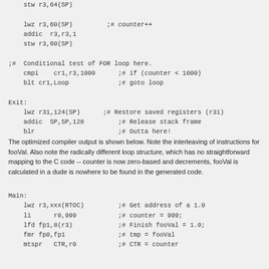stw r3,64(SP)

    lwz r3,60(SP)         ;# counter++
    addic  r3,r3,1
    stw r3,60(SP)

;#  Conditional test of FOR loop here.
    cmpi    cr1,r3,1000      ;# if (counter < 1000)
    blt cr1,Loop             ;# goto loop

Exit:
    lwz r31,124(SP)      ;# Restore saved registers (r31)
    addic  SP,SP,128         ;# Release stack frame
    blr                      ;# Outta here!
The optimized compiler output is shown below. Note the interleaving of instructions for fooVal. Also note the radically different loop structure, which has no straightforward mapping to the C code -- counter is now zero-based and decrements, fooVal is calculated in a different way, and dude is nowhere to be found in the generated code.
Main:
    lwz r3,xxx(RTOC)         ;# Get address of a 1.0
    li      r0,999           ;# counter = 999;
    lfd fp1,8(r3)            ;# Finish fooVal = 1.0;
    fmr fp0,fp1              ;# tmp = fooVal
    mtspr   CTR,r0           ;# CTR = counter